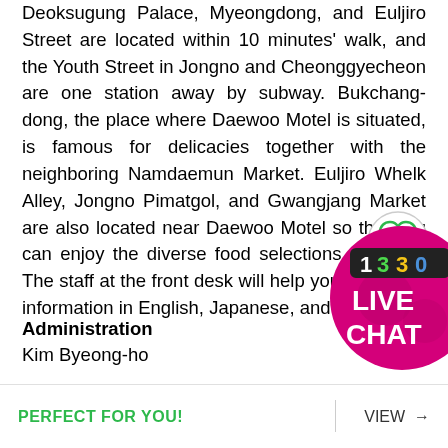Deoksugung Palace, Myeongdong, and Euljiro Street are located within 10 minutes' walk, and the Youth Street in Jongno and Cheonggyecheon are one station away by subway. Bukchang-dong, the place where Daewoo Motel is situated, is famous for delicacies together with the neighboring Namdaemun Market. Euljiro Whelk Alley, Jongno Pimatgol, and Gwangjang Market are also located near Daewoo Motel so that you can enjoy the diverse food selections of Seoul. The staff at the front desk will help you find travel information in English, Japanese, and Chinese.
[Figure (illustration): Live chat badge with '1330' text and 'LIVE CHAT' label on pink circular background]
[Figure (illustration): Heart/favorite icon in a circle outline]
Administration
Kim Byeong-ho
PERFECT FOR YOU!
VIEW →